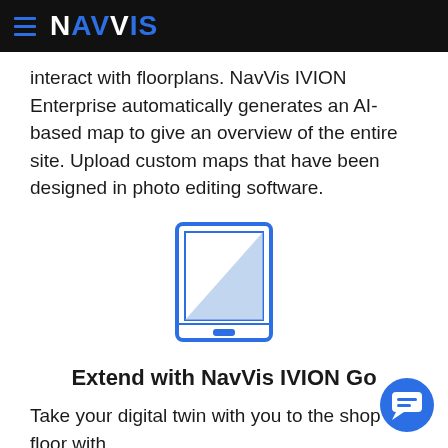NavVis
interact with floorplans. NavVis IVION Enterprise automatically generates an AI-based map to give an overview of the entire site. Upload custom maps that have been designed in photo editing software.
[Figure (illustration): Blue outline icon of a tablet/mobile device with a diagonal triangular light-blue fill in the screen area and a small home button at the bottom]
Extend with NavVis IVION Go
Take your digital twin with you to the shop floor with